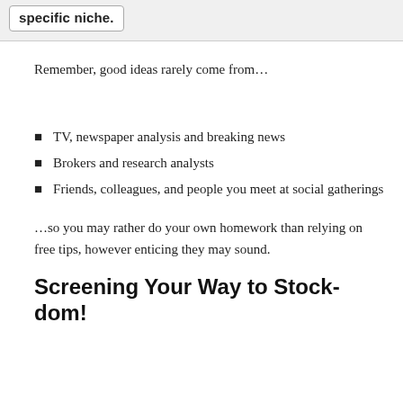specific niche.
Remember, good ideas rarely come from…
TV, newspaper analysis and breaking news
Brokers and research analysts
Friends, colleagues, and people you meet at social gatherings
…so you may rather do your own homework than relying on free tips, however enticing they may sound.
Screening Your Way to Stock-dom!